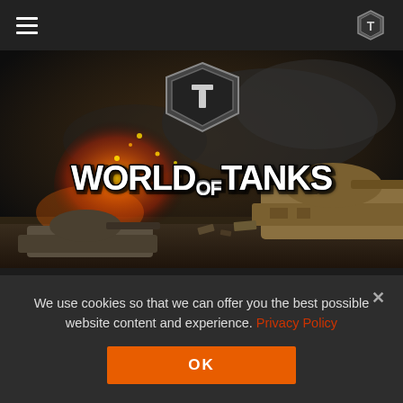Navigation bar with hamburger menu and World of Tanks logo icon
[Figure (illustration): World of Tanks game promotional hero image showing tanks in battle with fire and explosions, featuring the World of Tanks logo with metallic shield emblem]
D... N... WOL APAC ASIA CC (partially visible text strip)
We use cookies so that we can offer you the best possible website content and experience. Privacy Policy
OK